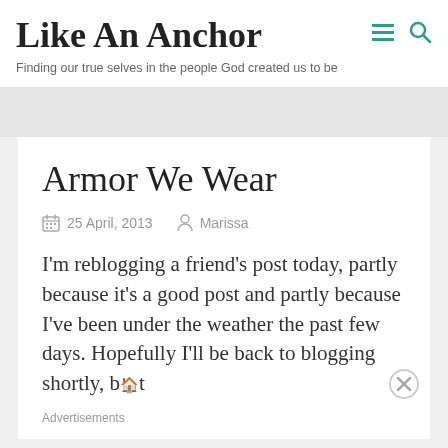Like An Anchor
Finding our true selves in the people God created us to be
Armor We Wear
25 April, 2013   Marissa
I'm reblogging a friend's post today, partly because it's a good post and partly because I've been under the weather the past few days. Hopefully I'll be back to blogging shortly, but
Advertisements